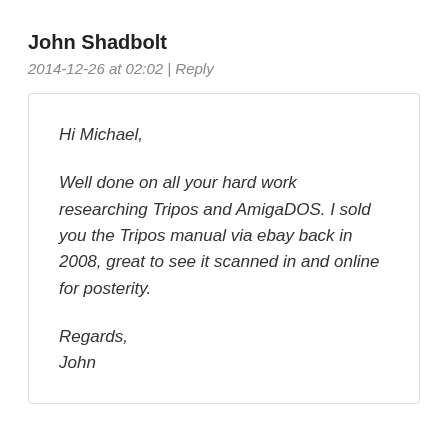John Shadbolt
2014-12-26 at 02:02 | Reply
Hi Michael,

Well done on all your hard work researching Tripos and AmigaDOS. I sold you the Tripos manual via ebay back in 2008, great to see it scanned in and online for posterity.

Regards,
John